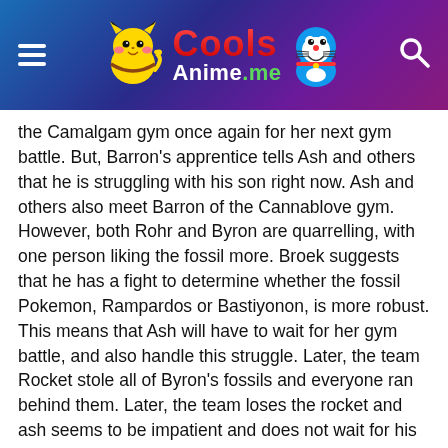[Figure (logo): CoolsAnime.me website header with hamburger menu, Pikachu and Doraemon mascots, red 'Cools' and white 'Anime.me' logo text, and search icon, on a blue-purple gradient background]
the Camalgam gym once again for her next gym battle. But, Barron's apprentice tells Ash and others that he is struggling with his son right now. Ash and others also meet Barron of the Cannablove gym. However, both Rohr and Byron are quarrelling, with one person liking the fossil more. Broek suggests that he has a fight to determine whether the fossil Pokemon, Rampardos or Bastiyonon, is more robust. This means that Ash will have to wait for her gym battle, and also handle this struggle. Later, the team Rocket stole all of Byron's fossils and everyone ran behind them. Later, the team loses the rocket and ash seems to be impatient and does not wait for his fight.
Series Information:
Series Name: Pokémon DP Galactic Battles (Season 12)
Release: December 4, 2008 – December 24, 2009
Quality: 480p 50MB & 720p